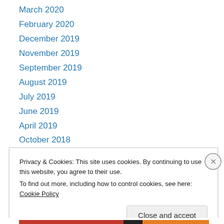March 2020
February 2020
December 2019
November 2019
September 2019
August 2019
July 2019
June 2019
April 2019
October 2018
September 2018
October 2017
September 2017
Privacy & Cookies: This site uses cookies. By continuing to use this website, you agree to their use.
To find out more, including how to control cookies, see here: Cookie Policy
Close and accept